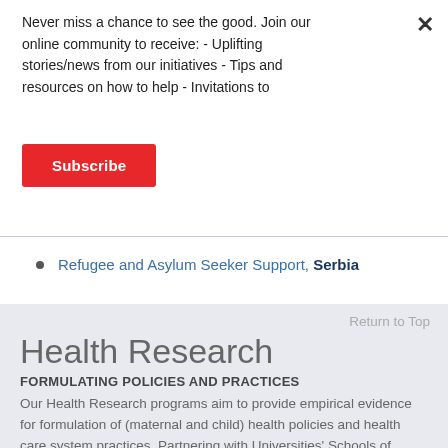Never miss a chance to see the good. Join our online community to receive: - Uplifting stories/news from our initiatives - Tips and resources on how to help - Invitations to
Subscribe
Refugee and Asylum Seeker Support, Serbia
Return to Top
Health Research
FORMULATING POLICIES AND PRACTICES
Our Health Research programs aim to provide empirical evidence for formulation of (maternal and child) health policies and health care system practices. Partnering with Universities' Schools of Public Health we are researching and identifying innovative, contextually specific solutions to the many problems